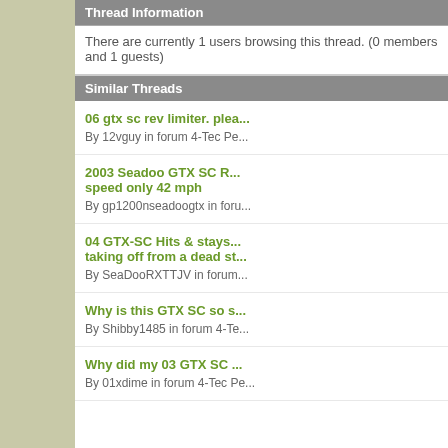Thread Information
There are currently 1 users browsing this thread. (0 members and 1 guests)
Similar Threads
06 gtx sc rev limiter. plea...
By 12vguy in forum 4-Tec Pe...
2003 Seadoo GTX SC R... speed only 42 mph
By gp1200nseadoogtx in foru...
04 GTX-SC Hits & stays... taking off from a dead st...
By SeaDooRXTTJV in forum...
Why is this GTX SC so s...
By Shibby1485 in forum 4-Te...
Why did my 03 GTX SC ...
By 01xdime in forum 4-Tec Pe...